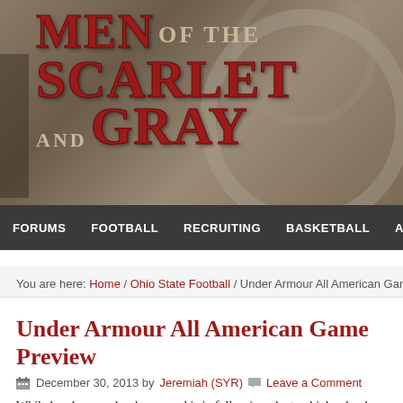[Figure (photo): Men of the Scarlet and Gray website header banner with logo text over a sepia-toned concrete stadium architecture background]
FORUMS   FOOTBALL   RECRUITING   BASKETBALL   ABOUT MOTSA
You are here: Home / Ohio State Football / Under Armour All American Gam…
Under Armour All American Game Preview
December 30, 2013 by Jeremiah (SYR)   Leave a Comment
While bowl season has begun and is in full swing, the top high school p…